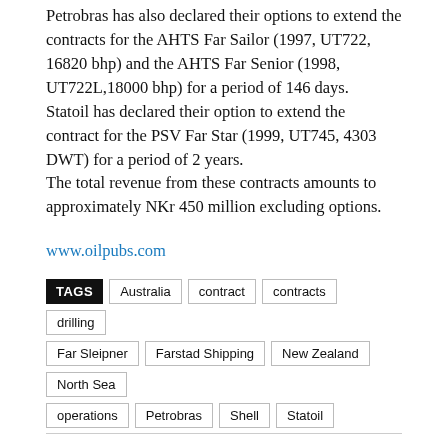Petrobras has also declared their options to extend the contracts for the AHTS Far Sailor (1997, UT722, 16820 bhp) and the AHTS Far Senior (1998, UT722L,18000 bhp) for a period of 146 days.
Statoil has declared their option to extend the contract for the PSV Far Star (1999, UT745, 4303 DWT) for a period of 2 years.
The total revenue from these contracts amounts to approximately NKr 450 million excluding options.
www.oilpubs.com
TAGS  Australia  contract  contracts  drilling  Far Sleipner  Farstad Shipping  New Zealand  North Sea  operations  Petrobras  Shell  Statoil